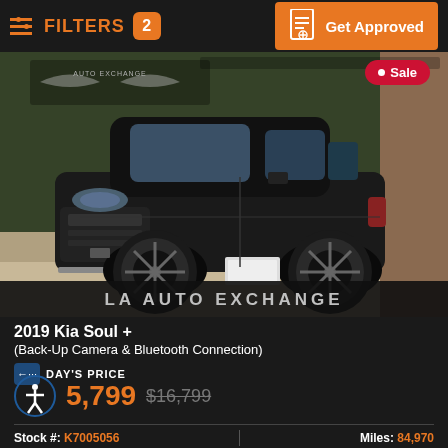FILTERS 2 | Get Approved
[Figure (photo): Dark-colored 2019 Kia Soul + parked in a lot with ivy-covered wall background, showing LA Auto Exchange dealer logo. 'Sale' badge in top right corner.]
2019 Kia Soul +
(Back-Up Camera & Bluetooth Connection)
DAY'S PRICE
5,799 $16,799
Stock #: K7005056   Miles: 84,970